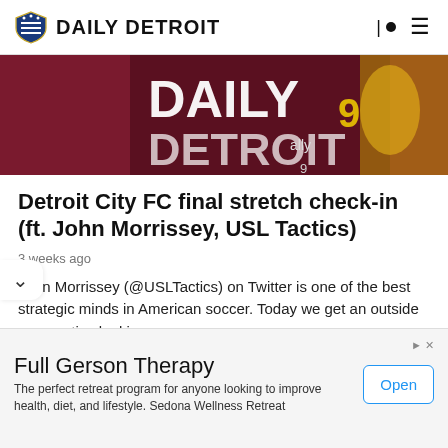DAILY DETROIT
[Figure (photo): Hero image showing Daily Detroit branding with a soccer player wearing number 9 jersey with 'ally' sponsor text, dark red/maroon background]
Detroit City FC final stretch check-in (ft. John Morrissey, USL Tactics)
3 weeks ago
John Morrissey (@USLTactics) on Twitter is one of the best strategic minds in American soccer. Today we get an outside perspective looking...
[Figure (infographic): Advertisement: Full Gerson Therapy - The perfect retreat program for anyone looking to improve health, diet, and lifestyle. Sedona Wellness Retreat. Open button.]